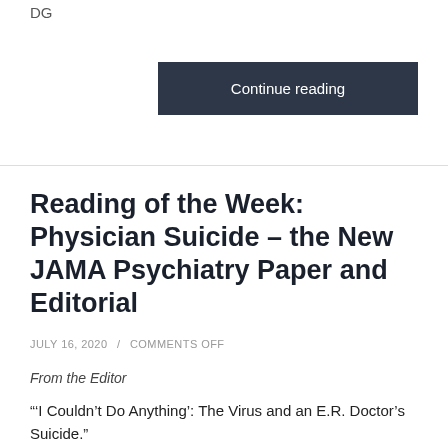DG
Continue reading
Reading of the Week: Physician Suicide – the New JAMA Psychiatry Paper and Editorial
JULY 16, 2020 / COMMENTS OFF
From the Editor
“‘I Couldn’t Do Anything’: The Virus and an E.R. Doctor’s Suicide.”